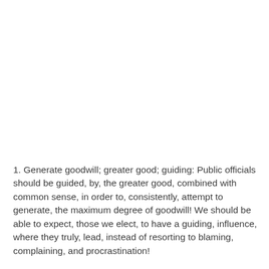1. Generate goodwill; greater good; guiding: Public officials should be guided, by, the greater good, combined with common sense, in order to, consistently, attempt to generate, the maximum degree of goodwill! We should be able to expect, those we elect, to have a guiding, influence, where they truly, lead, instead of resorting to blaming, complaining, and procrastination!